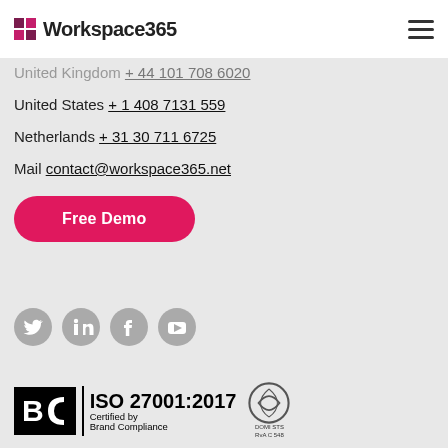Workspace365
United Kingdom + 44 101 708 6020
United States + 1 408 7131 559
Netherlands + 31 30 711 6725
Mail contact@workspace365.net
Free Demo
[Figure (logo): Social media icons: Twitter, LinkedIn, Facebook, YouTube]
[Figure (logo): BC ISO 27001:2017 Certified by Brand Compliance and RvA C 548 accreditation logo]